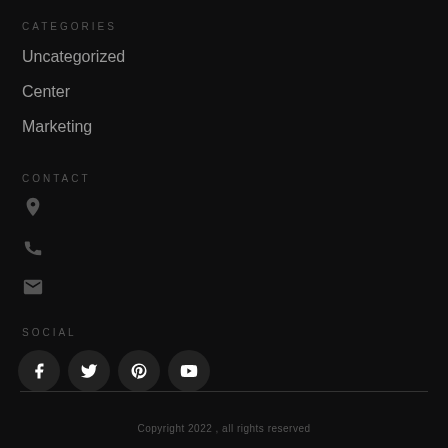CATEGORIES
Uncategorized
Center
Marketing
CONTACT
[Figure (infographic): Location pin icon, phone icon, and email/envelope icon for contact section]
SOCIAL
[Figure (infographic): Social media icons: Facebook, Twitter, Pinterest, YouTube in dark circular buttons]
Copyright 2022 , all rights reserved